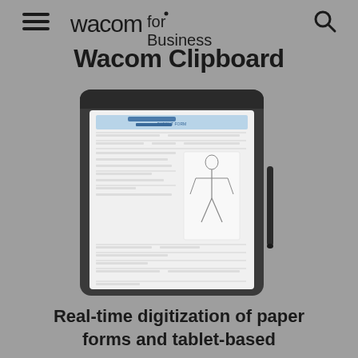wacom for Business
Wacom Clipboard
[Figure (photo): Wacom Clipboard device — a tablet-style digital clipboard showing a medical/body form on screen with a stylus pen beside it, against a gray background]
Real-time digitization of paper forms and tablet-based